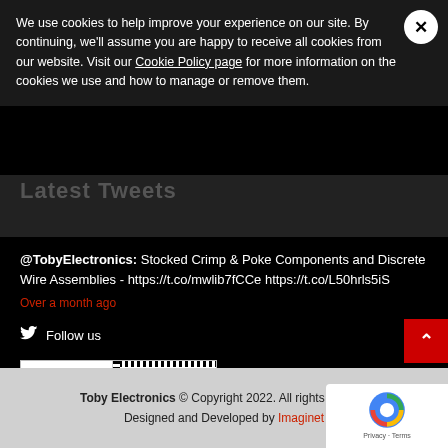We use cookies to help improve your experience on our site. By continuing, we'll assume you are happy to receive all cookies from our website. Visit our Cookie Policy page for more information on the cookies we use and how to manage or remove them.
Latest Tweets
@TobyElectronics: Stocked Crimp & Poke Components and Discrete Wire Assemblies - https://t.co/mwlib7fCCe https://t.co/L50hrls5iS
Over a month ago
Follow us
[Figure (logo): NQA ISO 9001 Quality Management and UKAS Management Systems 0015 certification badge]
Toby Electronics © Copyright 2022. All rights reserved. Designed and Developed by Imaginet